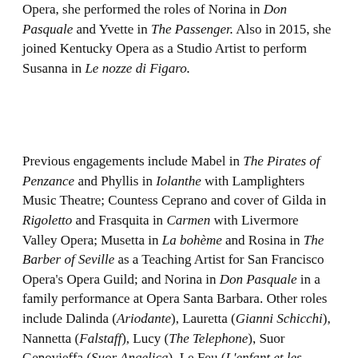Opera, she performed the roles of Norina in Don Pasquale and Yvette in The Passenger. Also in 2015, she joined Kentucky Opera as a Studio Artist to perform Susanna in Le nozze di Figaro.
Previous engagements include Mabel in The Pirates of Penzance and Phyllis in Iolanthe with Lamplighters Music Theatre; Countess Ceprano and cover of Gilda in Rigoletto and Frasquita in Carmen with Livermore Valley Opera; Musetta in La bohème and Rosina in The Barber of Seville as a Teaching Artist for San Francisco Opera's Opera Guild; and Norina in Don Pasquale in a family performance at Opera Santa Barbara. Other roles include Dalinda (Ariodante), Lauretta (Gianni Schicchi), Nannetta (Falstaff), Lucy (The Telephone), Suor Genovieffa (Suor Angelica), Le Feu (L'enfant et les sortilèges), Clarice (Il mondo della luna), and The Fox in the